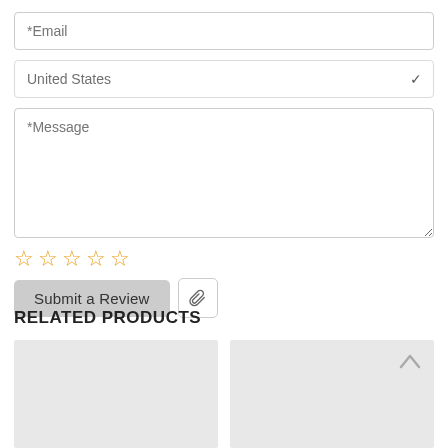*Email
United States
*Message
[Figure (other): Five empty star rating icons in orange/gold color]
Submit a Review
RELATED PRODUCTS
[Figure (other): Two product image placeholder cards side by side; the right card has an upward arrow icon in the top right corner]